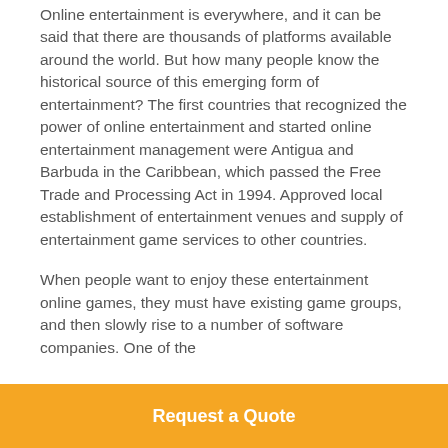Online entertainment is everywhere, and it can be said that there are thousands of platforms available around the world. But how many people know the historical source of this emerging form of entertainment? The first countries that recognized the power of online entertainment and started online entertainment management were Antigua and Barbuda in the Caribbean, which passed the Free Trade and Processing Act in 1994. Approved local establishment of entertainment venues and supply of entertainment game services to other countries.
When people want to enjoy these entertainment online games, they must have existing game groups, and then slowly rise to a number of software companies. One of the
Request a Quote